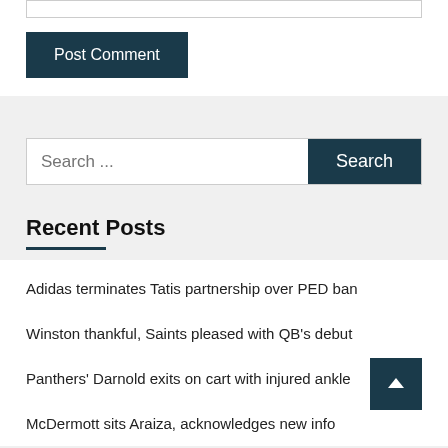[Figure (screenshot): Input text box at the top of the page]
Post Comment
Search ...
Search
Recent Posts
Adidas terminates Tatis partnership over PED ban
Winston thankful, Saints pleased with QB's debut
Panthers' Darnold exits on cart with injured ankle
McDermott sits Araiza, acknowledges new info